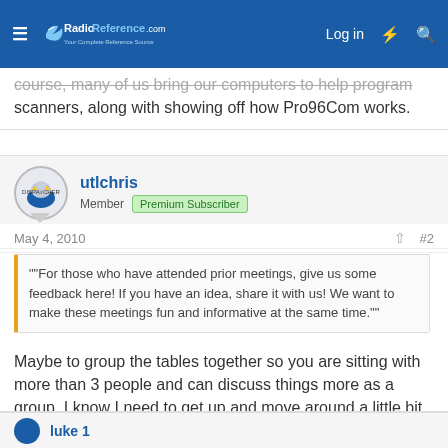RadioReference.com — Log in
course, many of us bring our computers to help program scanners, along with showing off how Pro96Com works.
utlchris
Member | Premium Subscriber
May 4, 2010   #2
""For those who have attended prior meetings, give us some feedback here! If you have an idea, share it with us! We want to make these meetings fun and informative at the same time.""
Maybe to group the tables together so you are sitting with more than 3 people and can discuss things more as a group. I know I need to get up and move around a little bit but in the past in appears everyone is off to a little group. Maybe getting 2-3 tables lined up would be better?
luke 1